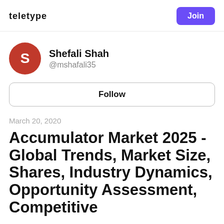teletype
Shefali Shah @mshafali35
Follow
March 20, 2020
Accumulator Market 2025 - Global Trends, Market Size, Shares, Industry Dynamics, Opportunity Assessment, Competitive Intelligence|To be Del N...